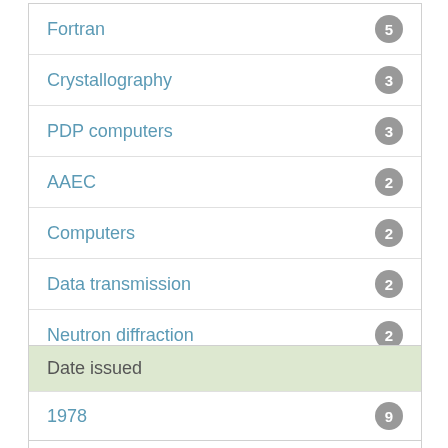Fortran 5
Crystallography 3
PDP computers 3
AAEC 2
Computers 2
Data transmission 2
Neutron diffraction 2
Programming languages 2
next >
Date issued
1978 9